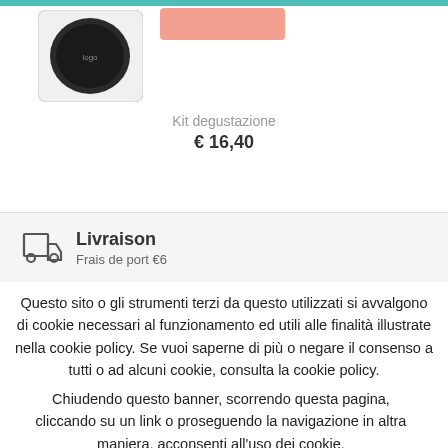[Figure (screenshot): Product image - Kit degustazione with dark circular label/logo]
Kit degustazione
€ 16,40
Livraison
Frais de port €6
Questo sito o gli strumenti terzi da questo utilizzati si avvalgono di cookie necessari al funzionamento ed utili alle finalità illustrate nella cookie policy. Se vuoi saperne di più o negare il consenso a tutti o ad alcuni cookie, consulta la cookie policy. Chiudendo questo banner, scorrendo questa pagina, cliccando su un link o proseguendo la navigazione in altra maniera, acconsenti all'uso dei cookie.
OK
Leggi di più